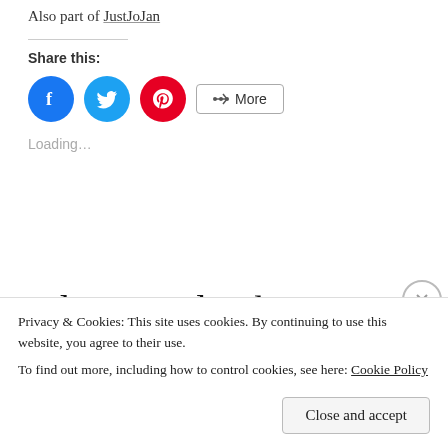Also part of JustJoJan
Share this:
[Figure (infographic): Social share buttons: Facebook (blue circle), Twitter (light blue circle), Pinterest (red circle), and a More button with share icon]
Loading…
I don't need to know
Privacy & Cookies: This site uses cookies. By continuing to use this website, you agree to their use.
To find out more, including how to control cookies, see here: Cookie Policy
Close and accept